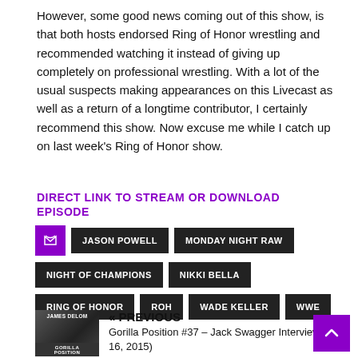However, some good news coming out of this show, is that both hosts endorsed Ring of Honor wrestling and recommended watching it instead of giving up completely on professional wrestling. With a lot of the usual suspects making appearances on this Livecast as well as a return of a longtime contributor, I certainly recommend this show. Now excuse me while I catch up on last week's Ring of Honor show.
DIRECT LINK TO STREAM OR DOWNLOAD EPISODE
JASON POWELL
MONDAY NIGHT RAW
NIGHT OF CHAMPIONS
NIKKI BELLA
RING OF HONOR
ROH
WADE KELLER
WWE
« PREVIOUS
Gorilla Position #37 – Jack Swagger Interview (16, 2015)